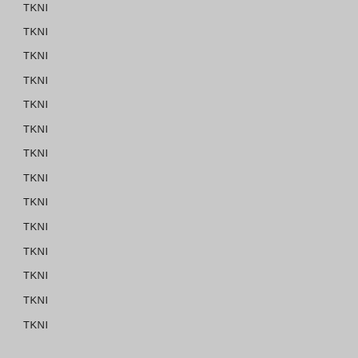TKNI
TKNI
TKNI
TKNI
TKNI
TKNI
TKNI
TKNI
TKNI
TKNI
TKNI
TKNI
TKNI
TKNI